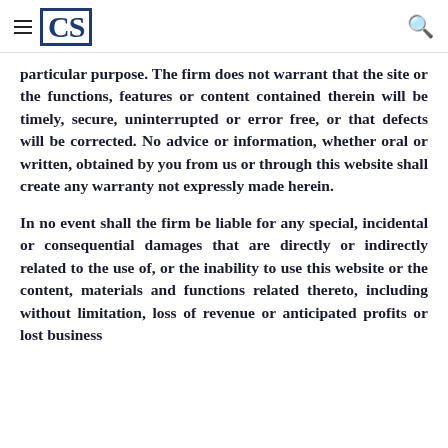CS [logo] [hamburger] [search]
particular purpose. The firm does not warrant that the site or the functions, features or content contained therein will be timely, secure, uninterrupted or error free, or that defects will be corrected. No advice or information, whether oral or written, obtained by you from us or through this website shall create any warranty not expressly made herein.
In no event shall the firm be liable for any special, incidental or consequential damages that are directly or indirectly related to the use of, or the inability to use this website or the content, materials and functions related thereto, including without limitation, loss of revenue or anticipated profits or lost business [continues]